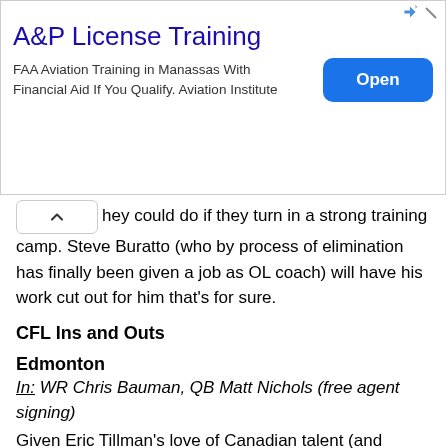[Figure (screenshot): Advertisement banner for A&P License Training. Shows title 'A&P License Training', description 'FAA Aviation Training in Manassas With Financial Aid If You Qualify. Aviation Institute', and an 'Open' button in blue.]
hey could do if they turn in a strong training camp. Steve Buratto (who by process of elimination has finally been given a job as OL coach) will have his work cut out for him that's for sure.
CFL Ins and Outs
Edmonton
In: WR Chris Bauman, QB Matt Nichols (free agent signing)
Given Eric Tillman's love of Canadian talent (and Edmonton's complete lack of anything resembling Canadian talent) it was no surprise to see him make a strong play for the former #1 pick Bauman. He gave him $125,000 per year and $47,000 up front which was far above what other interested teams were willing to pony up. Bauman has shown glimpses but never managed to fully live up the potential that everyone sees in him. Others seem hesitant to